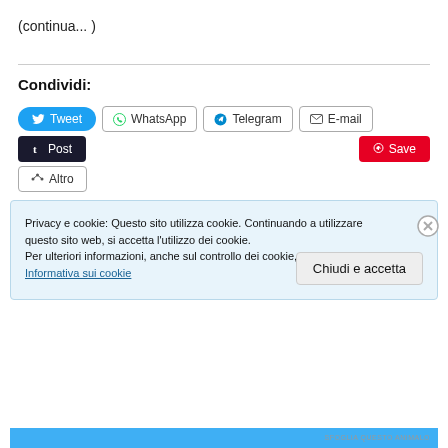(continua... )
Condividi:
[Figure (screenshot): Social share buttons: Tweet (Twitter/blue), WhatsApp, Telegram, E-mail, Post (Tumblr/dark), Save (Pinterest/red), Altro (more/share icon)]
Privacy e cookie: Questo sito utilizza cookie. Continuando a utilizzare questo sito web, si accetta l'utilizzo dei cookie.
Per ulteriori informazioni, anche sul controllo dei cookie, leggi qui:
Informativa sui cookie
Chiudi e accetta